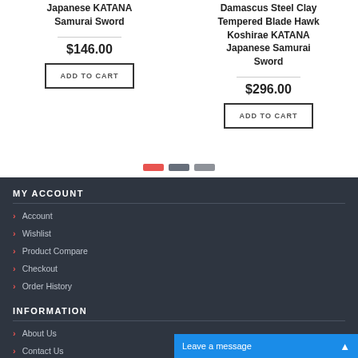Japanese KATANA Samurai Sword
$146.00
ADD TO CART
Damascus Steel Clay Tempered Blade Hawk Koshirae KATANA Japanese Samurai Sword
$296.00
ADD TO CART
[Figure (other): Three pagination dots: one red, two gray]
MY ACCOUNT
Account
Wishlist
Product Compare
Checkout
Order History
INFORMATION
About Us
Contact Us
Leave a message